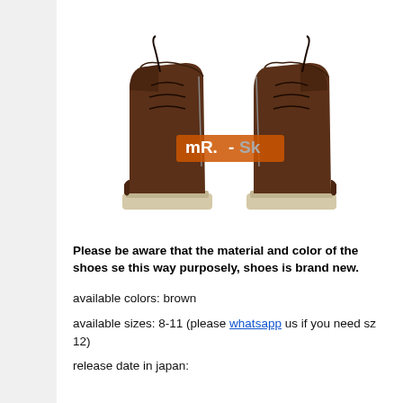[Figure (photo): Two brown leather boots (back view) with lace-up detail and chunky soles, watermarked with 'mR.-Sk' logo in orange and grey text.]
Please be aware that the material and color of the shoes se- this way purposely, shoes is brand new.
available colors: brown
available sizes: 8-11 (please whatsapp us if you need sz 12)
release date in japan: